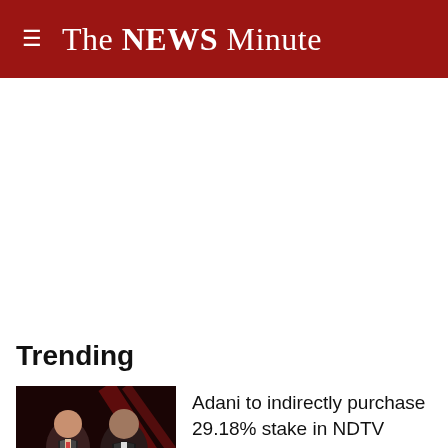The NEWS Minute
Trending
[Figure (photo): Two men in formal attire on a dark red stage background]
Adani to indirectly purchase 29.18% stake in NDTV
Tuesday, 23 August 2022 - 18:24:01